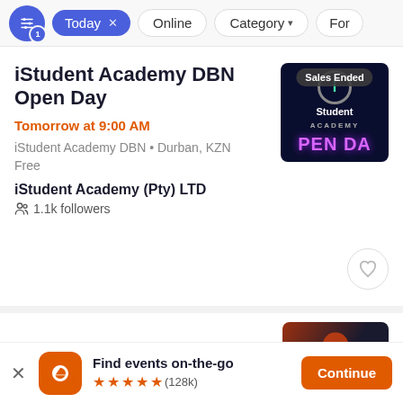[Figure (screenshot): Filter bar with filter icon badge '1', 'Today x' chip, 'Online', 'Category v', 'Form' chips]
iStudent Academy DBN Open Day
Tomorrow at 9:00 AM
iStudent Academy DBN • Durban, KZN
Free
iStudent Academy (Pty) LTD
1.1k followers
[Figure (photo): iStudent Academy event image with 'Sales Ended' badge, dark background with iStudent Academy logo and 'PEN DA' text in purple neon style]
Marikana, 10 Years On: A
[Figure (photo): Partial thumbnail for Marikana event, dark tones with orange logo]
Find events on-the-go
★★★★★ (128k)
Continue